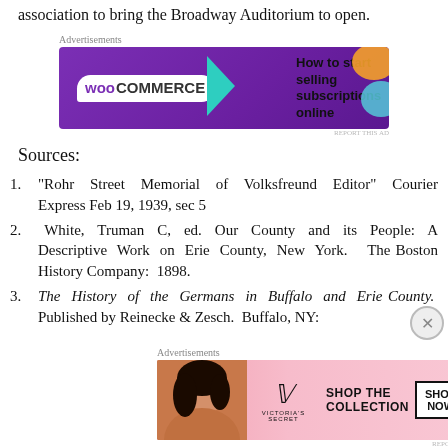association to bring the Broadway Auditorium to open.
[Figure (infographic): WooCommerce advertisement: purple banner with WooCommerce logo and text 'How to start selling subscriptions online']
Sources:
1. “Rohr Street Memorial of Volksfreund Editor” Courier Express Feb 19, 1939, sec 5
2. White, Truman C, ed. Our County and its People: A Descriptive Work on Erie County, New York. The Boston History Company: 1898.
3. The History of the Germans in Buffalo and Erie County. Published by Reinecke & Zesch. Buffalo, NY:
[Figure (infographic): Victoria's Secret advertisement: pink banner with woman photo, Victoria's Secret logo, and 'SHOP THE COLLECTION' with 'SHOP NOW' button]